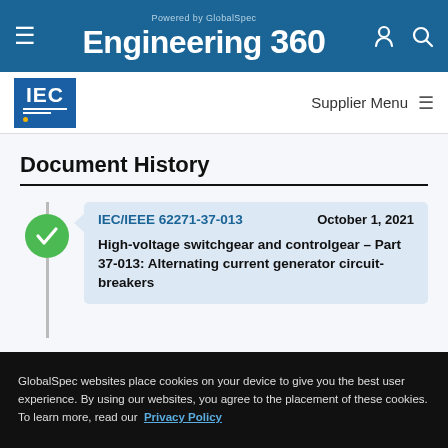Powered by GlobalSpec Engineering 360
[Figure (logo): IEC logo — blue square with IEC text and horizontal lines]
Supplier Menu
Document History
IEC/IEEE 62271-37-013   October 1, 2021
High-voltage switchgear and controlgear – Part 37-013: Alternating current generator circuit-breakers
GlobalSpec websites place cookies on your device to give you the best user experience. By using our websites, you agree to the placement of these cookies. To learn more, read our Privacy Policy